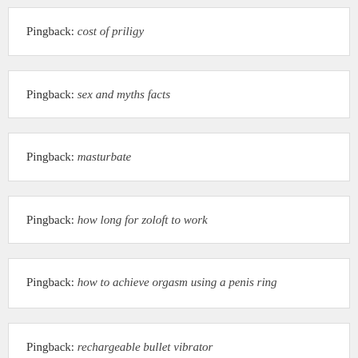Pingback: cost of priligy
Pingback: sex and myths facts
Pingback: masturbate
Pingback: how long for zoloft to work
Pingback: how to achieve orgasm using a penis ring
Pingback: rechargeable bullet vibrator